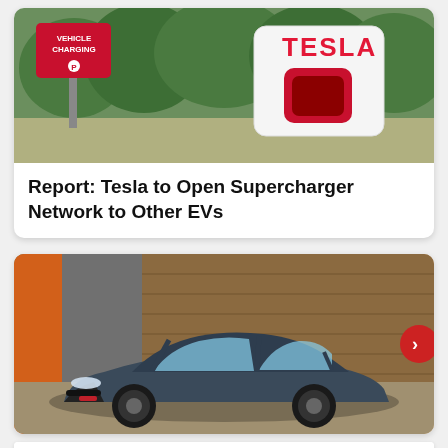[Figure (photo): Tesla Supercharger station with red vehicle charging sign and Tesla logo visible on charger unit]
Report: Tesla to Open Supercharger Network to Other EVs
[Figure (photo): Dark blue/grey Kia Stinger sedan parked in front of a modern building with orange column, with a next/arrow navigation button on the right]
[Figure (photo): Pedal Commander advertisement banner: orange/black arrow graphic, device image, Pedal Commander logo with star, text: YOU WILL SMILE 100% WITH PEDAL COMMANDER]